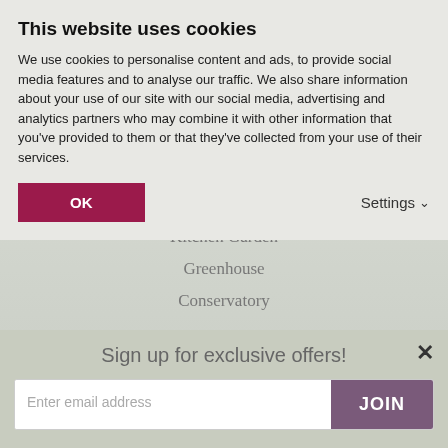This website uses cookies
We use cookies to personalise content and ads, to provide social media features and to analyse our traffic. We also share information about your use of our site with our social media, advertising and analytics partners who may combine it with other information that you've provided to them or that they've collected from your use of their services.
OK
Settings
Patio
Kitchen Garden
Greenhouse
Conservatory
[Figure (illustration): Sun icon with rays, light gray outline style]
Sign up for exclusive offers!
Enter email address
JOIN